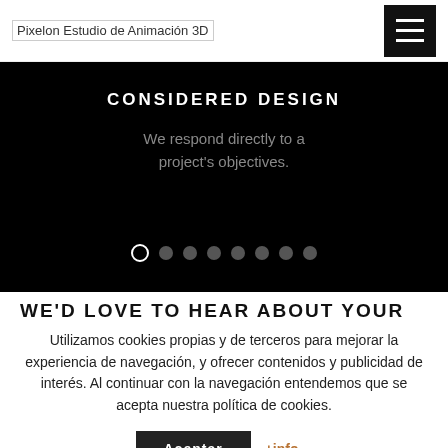Pixelon Estudio de Animación 3D
[Figure (screenshot): Website hero/slider section with black background showing 'CONSIDERED DESIGN' heading and subtitle 'We respond directly to a project's objectives.' with slider navigation dots below.]
CONSIDERED DESIGN
We respond directly to a project's objectives.
WE'D LOVE TO HEAR ABOUT YOUR PROJECT
Utilizamos cookies propias y de terceros para mejorar la experiencia de navegación, y ofrecer contenidos y publicidad de interés. Al continuar con la navegación entendemos que se acepta nuestra política de cookies.
Aceptar   +info